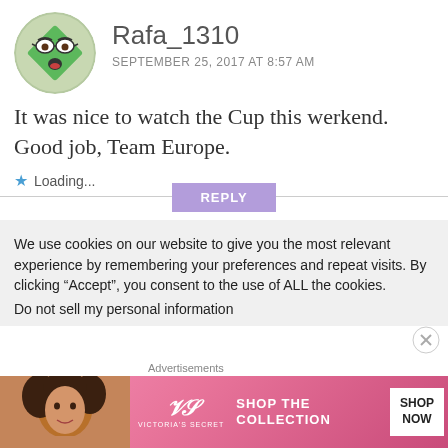[Figure (illustration): Circular avatar showing a cartoon green diamond-shaped character with glasses and an open mouth, on a light green ball background]
Rafa_1310
SEPTEMBER 25, 2017 AT 8:57 AM
It was nice to watch the Cup this werkend. Good job, Team Europe.
Loading...
REPLY
We use cookies on our website to give you the most relevant experience by remembering your preferences and repeat visits. By clicking “Accept”, you consent to the use of ALL the cookies.
Do not sell my personal information
Advertisements
[Figure (photo): Advertisement banner for Victoria's Secret with a photo of a woman with curly hair, VS logo, text SHOP THE COLLECTION, and SHOP NOW button]